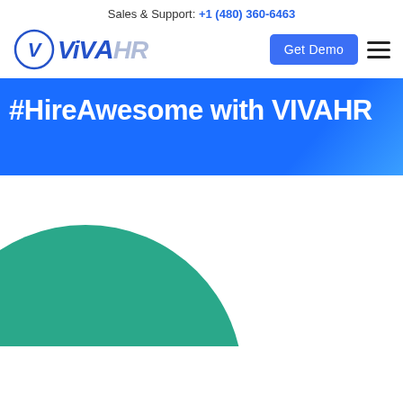Sales & Support: +1 (480) 360-6463
[Figure (logo): VivaHR logo with circle V icon, blue VIVA and gray HR text]
[Figure (other): Get Demo button (blue) and hamburger menu icon]
#HireAwesome with VIVAHR
[Figure (illustration): Teal/green circle partially visible at bottom left of white section, decorative element]